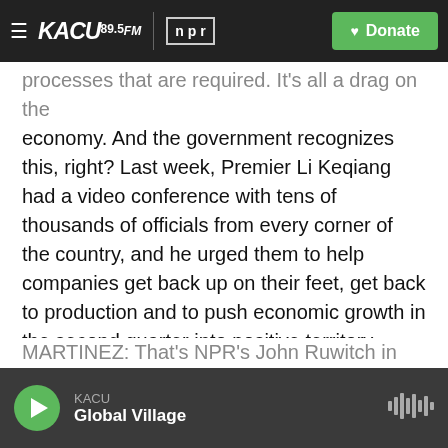KACU 89.5FM | npr | Donate
processes that are required. It's all a drag on the economy. And the government recognizes this, right? Last week, Premier Li Keqiang had a video conference with tens of thousands of officials from every corner of the country, and he urged them to help companies get back up on their feet, get back to production and to push economic growth in the second quarter into positive territory, which some read as a sign that Q2 growth might be negative. The full year GDP growth target for China is around 5.5%. That is going to be a hard number for them to hit.
MARTINEZ: That's NPR's John Ruwitch in
KACU | Global Village